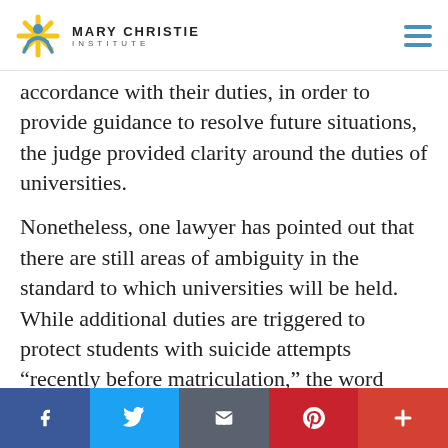Mary Christie Institute
accordance with their duties, in order to provide guidance to resolve future situations, the judge provided clarity around the duties of universities.
Nonetheless, one lawyer has pointed out that there are still areas of ambiguity in the standard to which universities will be held. While additional duties are triggered to protect students with suicide attempts “recently before matriculation,” the word “recently”
PREVIOUS Article   NEXT Article